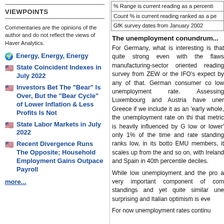VIEWPOINTS
Commentaries are the opinions of the author and do not reflect the views of Haver Analytics.
Energy, Energy, Energy
State Coincident Indexes in July 2022
Investors Bet The "Bear" Is Over, But the "Bear Cycle" of Lower Inflation & Less Profits Is Not
State Labor Markets in July 2022
Recent Divergence Runs The Opposite; Household Employment Gains Outpace Payroll
more...
| % Range is current reading as a percenti |
| Count % is current reading ranked as a pe |
| GfK survey dates from January 2002 |
The unemployment conundrum...
For Germany, what is interesting is that quite strong even with the flaws manufacturing-sector oriented reading survey from ZEW or the IFO's expect by any of that. German consumer co low unemployment rate. Assessing Luxembourg and Austria have uner Greece if we include it as an 'early whole, the unemployment rate on thi that metric is heavily influenced by G low or lower' only 1% of the time and rate standing ranks low, in its botto EMU members, it scales up from the and so on, with Ireland and Spain in 40th percentile deciles.
While low unemployment and the pro a very important component of com standings and yet quite similar une surprising and Italian optimism is eve
For now unemployment rates continu